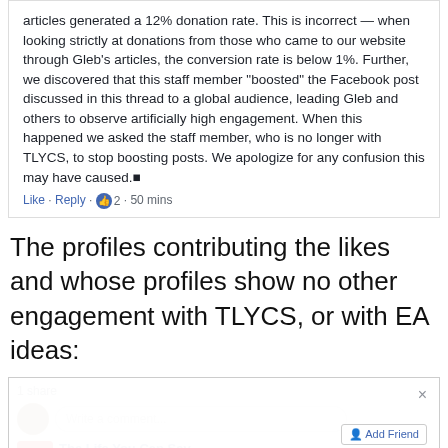[Figure (screenshot): Facebook comment box showing text about donation rate correction and staff member boosting posts, with Like/Reply actions showing 2 likes, 50 mins ago.]
The profiles contributing the likes and whose profiles show no other engagement with TLYCS, or with EA ideas:
[Figure (screenshot): Facebook screenshot showing a post by The Life You Can Save with a likes dialog open displaying All 457, 456 likes, 1 love. The dialog shows three people: Junior Perez, Junio Xepao, Leticia Carvalho, each with an Add Friend button.]